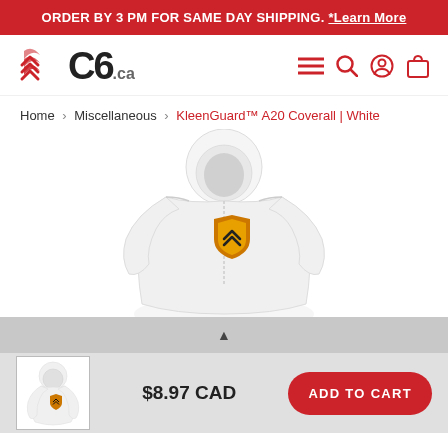ORDER BY 3 PM FOR SAME DAY SHIPPING. *Learn More
[Figure (logo): C6.ca logo with red chevron/wifi icon, navigation icons including hamburger menu, search, account, and cart]
Home > Miscellaneous > KleenGuard™ A20 Coverall | White
[Figure (photo): White KleenGuard A20 hooded coverall with yellow KleenGuard shield logo badge on chest, displayed on invisible mannequin against white background]
[Figure (photo): Small thumbnail of white KleenGuard coverall]
$8.97 CAD
ADD TO CART